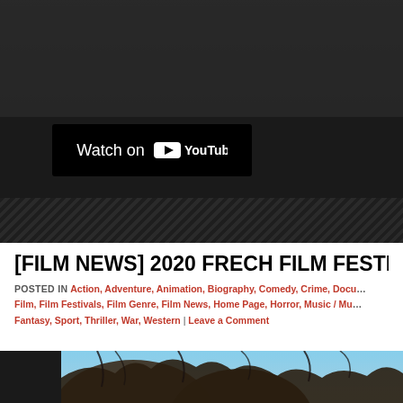[Figure (screenshot): YouTube video embed with dark background and 'Watch on YouTube' button overlay]
[FILM NEWS] 2020 FRECH FILM FESTIVAL Lin...
POSTED IN ACTION, ADVENTURE, ANIMATION, BIOGRAPHY, COMEDY, CRIME, DOCU... FILM, FILM FESTIVALS, FILM GENRE, FILM NEWS, HOME PAGE, HORROR, MUSIC / MU... FANTASY, SPORT, THRILLER, WAR, WESTERN | LEAVE A COMMENT
[Figure (photo): Photo of two people with windswept hair against a blue sky background]